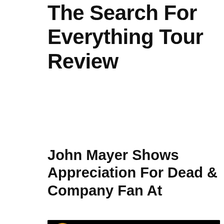The Search For Everything Tour Review
John Mayer Shows Appreciation For Dead & Company Fan At
[Figure (screenshot): Screenshot of a YouTube/music app showing a playlist titled 'The Search for Everything ...' with a grid of thumbnail images. A round avatar of a person in black clothing with a yellow background is shown. The thumbnail grid shows a blue-tinted image of a person's face split across multiple cells, with decorative floral/mandala patterns on the side cells. A phone bottom bar indicator is visible at the bottom.]